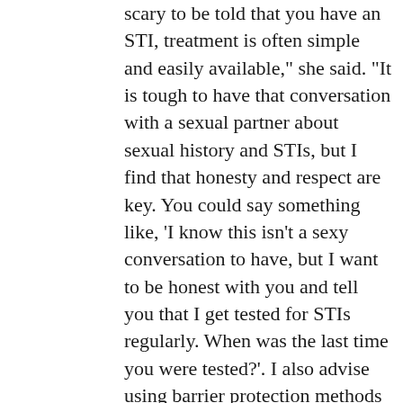scary to be told that you have an STI, treatment is often simple and easily available," she said. "It is tough to have that conversation with a sexual partner about sexual history and STIs, but I find that honesty and respect are key. You could say something like, 'I know this isn't a sexy conversation to have, but I want to be honest with you and tell you that I get tested for STIs regularly. When was the last time you were tested?'. I also advise using barrier protection methods like condoms. Studies have shown that people often use barrier methods to prevent pregnancy, rather than to prevent STIs, however, this leads to the unfortunate habit of not using barrier methods and increasing the transmission of STIs."
Services at the Umbrella Clinic are available to anybody from the public. They are focused on sexual health because they understand that this may be a difficult topic